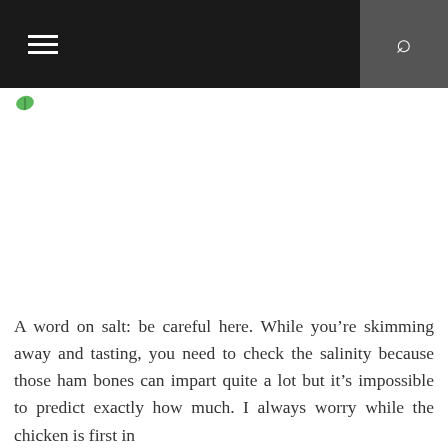Navigation bar with hamburger menu and search button
[Figure (logo): Small green leaf logo icon]
[Figure (photo): Large blank/white image placeholder area]
A word on salt: be careful here. While you're skimming away and tasting, you need to check the salinity because those ham bones can impart quite a lot but it's impossible to predict exactly how much. I always worry while the chicken is first in